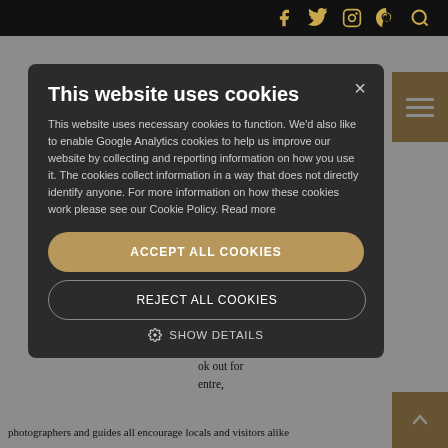Website header with social icons: Facebook, Twitter, Instagram, Pinterest, Search
[Figure (screenshot): Background website page with partial article text visible: quotes about not wasting, article body text about local community, photographers and guides. A tan/gold hamburger menu button top right and a tan scroll-to-top button bottom right.]
This website uses cookies
This website uses necessary cookies to function. We'd also like to enable Google Analytics cookies to help us improve our website by collecting and reporting information on how you use it. The cookies collect information in a way that does not directly identify anyone. For more information on how these cookies work please see our Cookie Policy. Read more
ACCEPT ALL COOKIES
REJECT ALL COOKIES
SHOW DETAILS